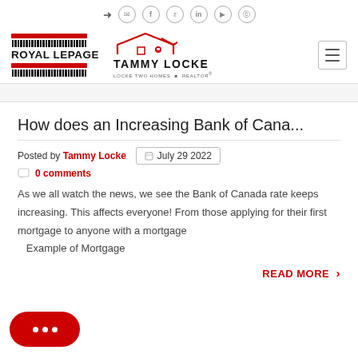Royal LePage | Tammy Locke — navigation icons
[Figure (logo): Royal LePage logo with red bars and barcode, Tammy Locke realtor logo with red house icon, hamburger menu button]
How does an Increasing Bank of Cana...
Posted by Tammy Locke   July 29 2022
0 comments
As we all watch the news, we see the Bank of Canada rate keeps increasing. This affects everyone! From those applying for their first mortgage to anyone with a mortgage   Example of Mortgage
Read More >